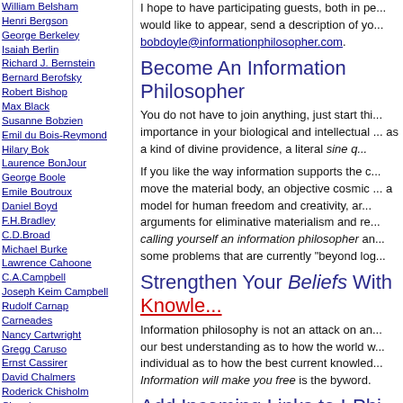William Belsham
Henri Bergson
George Berkeley
Isaiah Berlin
Richard J. Bernstein
Bernard Berofsky
Robert Bishop
Max Black
Susanne Bobzien
Emil du Bois-Reymond
Hilary Bok
Laurence BonJour
George Boole
Emile Boutroux
Daniel Boyd
F.H.Bradley
C.D.Broad
Michael Burke
Lawrence Cahoone
C.A.Campbell
Joseph Keim Campbell
Rudolf Carnap
Carneades
Nancy Cartwright
Gregg Caruso
Ernst Cassirer
David Chalmers
Roderick Chisholm
Chrysippus
Cicero
Randolph Clarke
Samuel Clarke
Anthony Collins
Antonella Corradini
Diodorus Cronus
Jonathan Dancy
Donald Davidson
I hope to have participating guests, both in pe... would like to appear, send a description of yo... bobdoyle@informationphilosopher.com.
Become An Information Philosopher
You do not have to join anything, just start thi... importance in your biological and intellectual ... as a kind of divine providence, a literal sine q...
If you like the way information supports the c... move the material body, an objective cosmic... a model for human freedom and creativity, ar... arguments for eliminative materialism and re... calling yourself an information philosopher an... some problems that are currently "beyond log...
Strengthen Your Beliefs With Knowle...
Information philosophy is not an attack on an... our best understanding as to how the world w... individual as to how the best current knowled... Information will make you free is the byword.
Add Incoming Links to I-Phi Pages
The I-Phi website offers resources on over 30... contributed to the great problems in philosop... dozens of pages on the great problems, with...